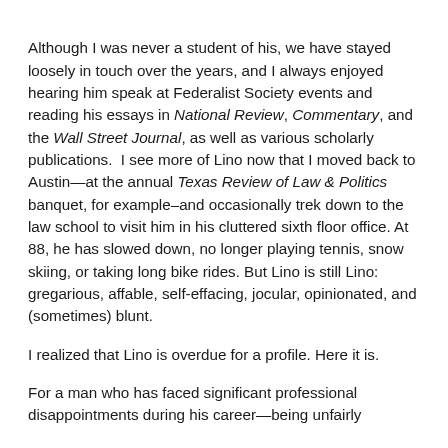Although I was never a student of his, we have stayed loosely in touch over the years, and I always enjoyed hearing him speak at Federalist Society events and reading his essays in National Review, Commentary, and the Wall Street Journal, as well as various scholarly publications.  I see more of Lino now that I moved back to Austin—at the annual Texas Review of Law & Politics banquet, for example–and occasionally trek down to the law school to visit him in his cluttered sixth floor office. At 88, he has slowed down, no longer playing tennis, snow skiing, or taking long bike rides. But Lino is still Lino: gregarious, affable, self-effacing, jocular, opinionated, and (sometimes) blunt.
I realized that Lino is overdue for a profile. Here it is.
For a man who has faced significant professional disappointments during his career—being unfairly